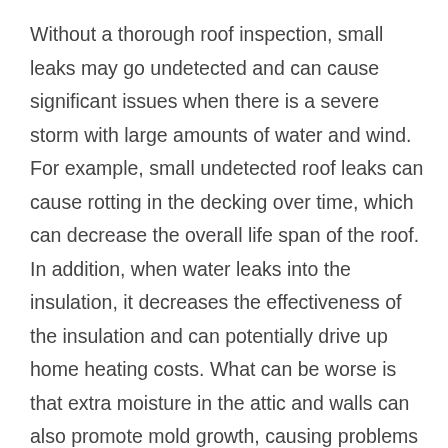Without a thorough roof inspection, small leaks may go undetected and can cause significant issues when there is a severe storm with large amounts of water and wind. For example, small undetected roof leaks can cause rotting in the decking over time, which can decrease the overall life span of the roof. In addition, when water leaks into the insulation, it decreases the effectiveness of the insulation and can potentially drive up home heating costs. What can be worse is that extra moisture in the attic and walls can also promote mold growth, causing problems for some unsuspecting homeowners. A preventative roof service can uncover small problems before they become big problems, and help avoid the cost of a full roof replacement.